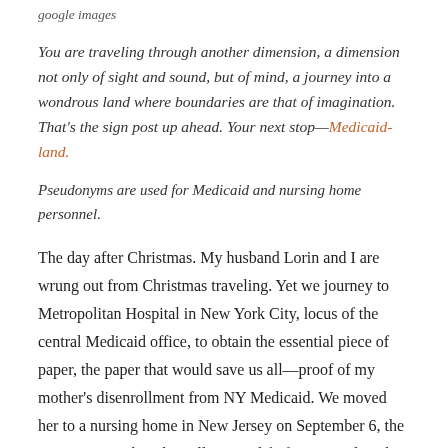google images
You are traveling through another dimension, a dimension not only of sight and sound, but of mind, a journey into a wondrous land where boundaries are that of imagination. That's the sign post up ahead. Your next stop—Medicaid-land.
Pseudonyms are used for Medicaid and nursing home personnel.
The day after Christmas. My husband Lorin and I are wrung out from Christmas traveling. Yet we journey to Metropolitan Hospital in New York City, locus of the central Medicaid office, to obtain the essential piece of paper, the paper that would save us all—proof of my mother's disenrollment from NY Medicaid. We moved her to a nursing home in New Jersey on September 6, the Actors Home, but she will not qualify for NJ Medicaid until this final document